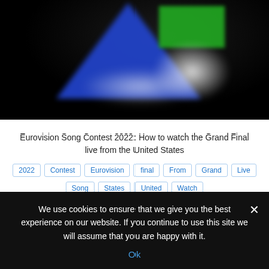[Figure (photo): Blurred/pixelated screenshot of the Eurovision Song Contest 2022 logo — shows a blue triangle and green rectangular shape on a dark background with bright glowing white highlights]
Eurovision Song Contest 2022: How to watch the Grand Final live from the United States
2022
Contest
Eurovision
final
From
Grand
Live
Song
States
United
Watch
Repin | Like | Comment
We use cookies to ensure that we give you the best experience on our website. If you continue to use this site we will assume that you are happy with it.
Ok